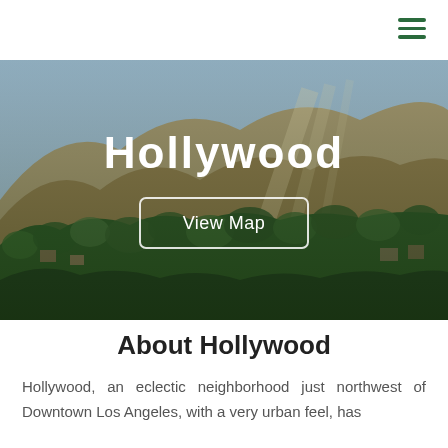≡ (hamburger menu)
[Figure (photo): Aerial view of Hollywood neighborhood with green hillside, trees, houses, and mountains in the background under a blue sky. Title 'Hollywood' and a 'View Map' button overlay the image.]
Hollywood
View Map
About Hollywood
Hollywood, an eclectic neighborhood just northwest of Downtown Los Angeles, with a very urban feel, has